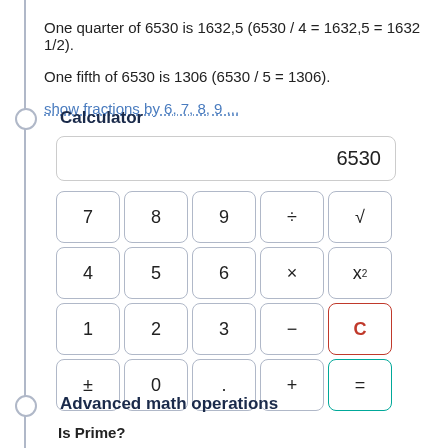One quarter of 6530 is 1632,5 (6530 / 4 = 1632,5 = 1632 1/2).
One fifth of 6530 is 1306 (6530 / 5 = 1306).
show fractions by 6, 7, 8, 9 ...
Calculator
[Figure (screenshot): Calculator widget showing display with 6530 and a 4x5 grid of buttons: 7,8,9,÷,√ / 4,5,6,×,x² / 1,2,3,−,C / ±,0,.,+,=]
Advanced math operations
Is Prime?